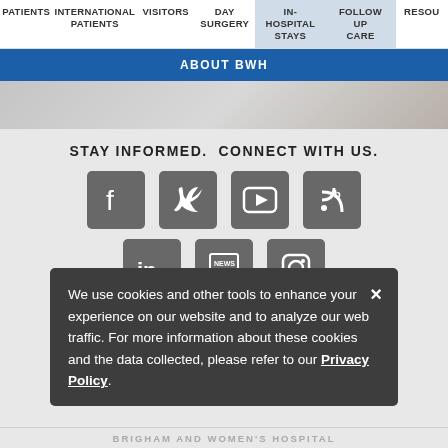PATIENTS | INTERNATIONAL PATIENTS | VISITORS | DAY SURGERY | IN-HOSPITAL STAYS | FOLLOW UP CARE | RESOU...
ABOUT BWH
STAY INFORMED. CONNECT WITH US.
[Figure (screenshot): Social media icons: Facebook, Twitter, YouTube, Blog/RSS, LinkedIn, News, Instagram]
[Figure (screenshot): Cookie consent banner: 'We use cookies and other tools to enhance your experience on our website and to analyze our web traffic. For more information about these cookies and the data collected, please refer to our Privacy Policy.']
[Figure (logo): Brigham and Women's Hospital logo - Founding Member, Mass General Brigham]
BRIGHAM AND WOMEN'S HOSPITAL